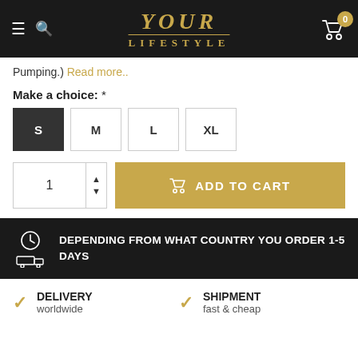YOUR LIFESTYLE — navigation header with cart showing 0 items
Pumping.) Read more..
Make a choice: *
Size options: S (selected), M, L, XL
Quantity: 1 — ADD TO CART
DEPENDING FROM WHAT COUNTRY YOU ORDER 1-5 DAYS
DELIVERY worldwide
SHIPMENT fast & cheap